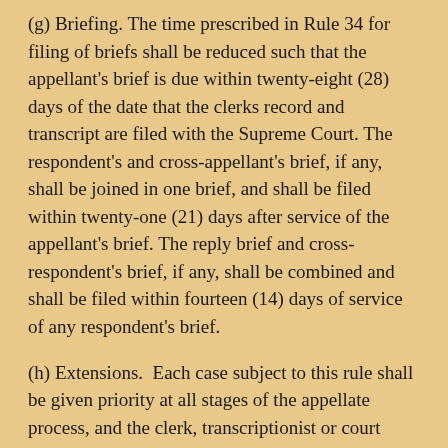(g) Briefing. The time prescribed in Rule 34 for filing of briefs shall be reduced such that the appellant's brief is due within twenty-eight (28) days of the date that the clerks record and transcript are filed with the Supreme Court. The respondent's and cross-appellant's brief, if any, shall be joined in one brief, and shall be filed within twenty-one (21) days after service of the appellant's brief. The reply brief and cross-respondent's brief, if any, shall be combined and shall be filed within fourteen (14) days of service of any respondent's brief.
(h) Extensions.  Each case subject to this rule shall be given priority at all stages of the appellate process, and the clerk, transcriptionist or court reporter, and litigants will not be given extensions of time in which to comply with the expedited docketing and briefing schedules except upon a verified showing of the most unusual and compelling circumstances.
(i) Oral argument. Oral argument, if requested, shall be held